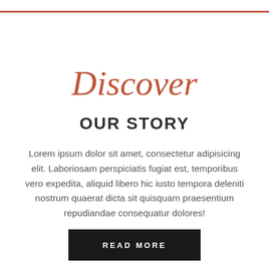Discover OUR STORY
Lorem ipsum dolor sit amet, consectetur adipisicing elit. Laboriosam perspiciatis fugiat est, temporibus vero expedita, aliquid libero hic iusto tempora deleniti nostrum quaerat dicta sit quisquam praesentium repudiandae consequatur dolores!
READ MORE